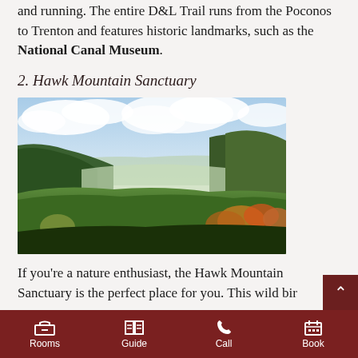and running. The entire D&L Trail runs from the Poconos to Trenton and features historic landmarks, such as the National Canal Museum.
2. Hawk Mountain Sanctuary
[Figure (photo): Aerial view of Hawk Mountain Sanctuary showing a forested mountain valley with blue sky and clouds overhead, green tree canopy covering rolling hills]
If you're a nature enthusiast, the Hawk Mountain Sanctuary is the perfect place for you. This wild bir...